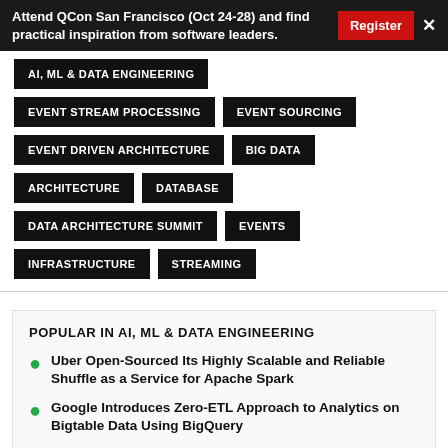Attend QCon San Francisco (Oct 24-28) and find practical inspiration from software leaders.
AI, ML & DATA ENGINEERING
EVENT STREAM PROCESSING
EVENT SOURCING
EVENT DRIVEN ARCHITECTURE
BIG DATA
ARCHITECTURE
DATABASE
DATA ARCHITECTURE SUMMIT
EVENTS
INFRASTRUCTURE
STREAMING
POPULAR IN AI, ML & DATA ENGINEERING
Uber Open-Sourced Its Highly Scalable and Reliable Shuffle as a Service for Apache Spark
Google Introduces Zero-ETL Approach to Analytics on Bigtable Data Using BigQuery